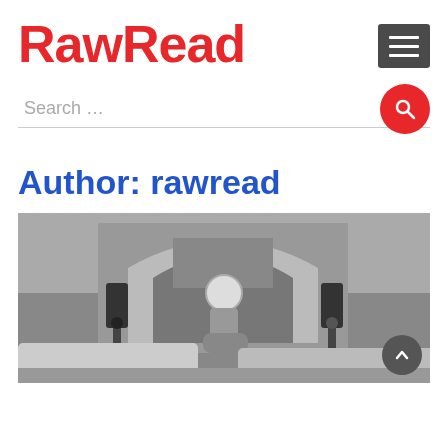RawRead
Author: rawread
[Figure (photo): Black and white street photograph showing a motorcyclist wearing a helmet in front of a large stone archway building, with traffic in the foreground]